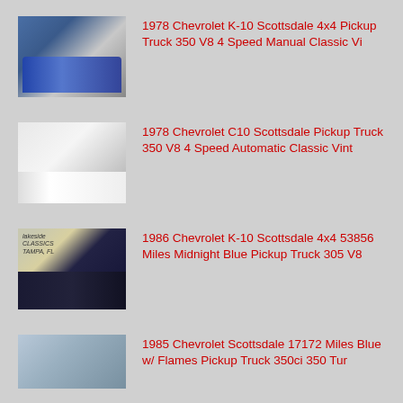[Figure (photo): Blue lifted 1978 Chevrolet K-10 Scottsdale 4x4 pickup truck]
1978 Chevrolet K-10 Scottsdale 4x4 Pickup Truck 350 V8 4 Speed Manual Classic Vi
[Figure (photo): White 1978 Chevrolet C10 Scottsdale pickup truck]
1978 Chevrolet C10 Scottsdale Pickup Truck 350 V8 4 Speed Automatic Classic Vint
[Figure (photo): Dark blue 1986 Chevrolet K-10 Scottsdale 4x4 pickup truck]
1986 Chevrolet K-10 Scottsdale 4x4 53856 Miles Midnight Blue Pickup Truck 305 V8
[Figure (photo): Blue 1985 Chevrolet Scottsdale pickup truck, partial view]
1985 Chevrolet Scottsdale 17172 Miles Blue w/ Flames Pickup Truck 350ci 350 Tur